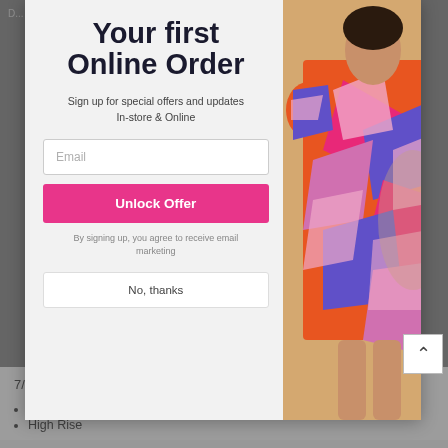[Figure (screenshot): E-commerce website popup modal overlaying a product page. The modal has two columns: left side with email signup form, right side with a fashion model wearing a colorful geometric print dress. Left column contains a bold headline 'Your first Online Order', subtitle 'Sign up for special offers and updates In-store & Online', an email input field, a pink 'Unlock Offer' button, consent text, and a 'No, thanks' button. Background shows grey product page with '7/8 length.' text and bullet list items 'Squat Proof', 'High Rise'.]
Your first Online Order
Sign up for special offers and updates In-store & Online
Email
Unlock Offer
By signing up, you agree to receive email marketing
No, thanks
7/8 length.
Squat Proof
High Rise